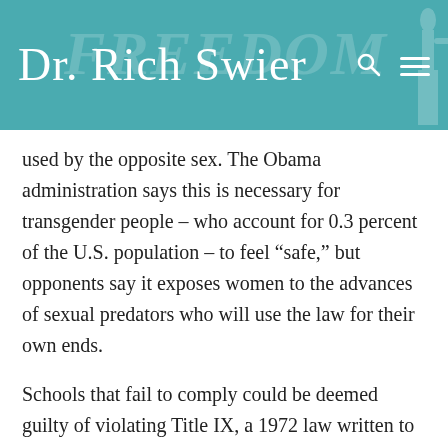Dr. Rich Swier
used by the opposite sex. The Obama administration says this is necessary for transgender people – who account for 0.3 percent of the U.S. population – to feel “safe,” but opponents say it exposes women to the advances of sexual predators who will use the law for their own ends.
Schools that fail to comply could be deemed guilty of violating Title IX, a 1972 law written to prevent discrimination against biological women. Nothing in that law refers to transgender status or gender identity.